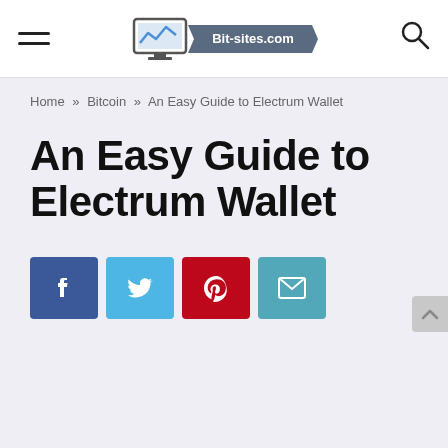Bit-sites.com
Home » Bitcoin » An Easy Guide to Electrum Wallet
An Easy Guide to Electrum Wallet
[Figure (other): Social share buttons: Facebook, Twitter, Pinterest, Email]